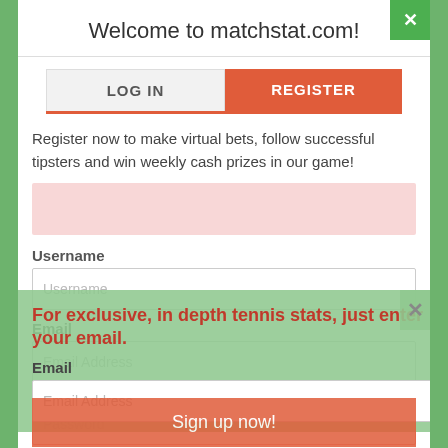Welcome to matchstat.com!
LOG IN | REGISTER
Register now to make virtual bets, follow successful tipsters and win weekly cash prizes in our game!
Username
Email
For exclusive, in depth tennis stats, just enter your email.
Password
Sign up now!